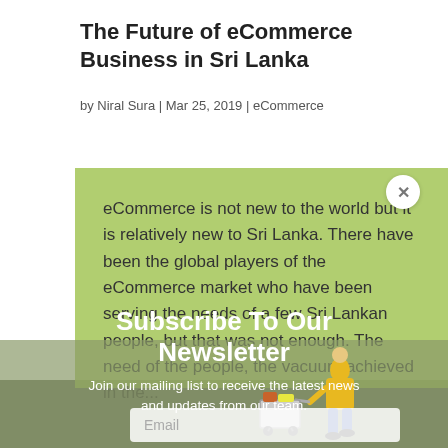The Future of eCommerce Business in Sri Lanka
by Niral Sura | Mar 25, 2019 | eCommerce
eCommerce is not new to the world but it is relatively new to Sri Lanka. There have been the global players of the eCommerce market who have been serving the needs of a few Sri Lankan people, but that was not enough. The need of the people, the vacuum achieved in the...
Subscribe To Our Newsletter
Join our mailing list to receive the latest news and updates from our team.
[Figure (photo): Person in yellow jacket pushing a shopping cart, miniature figurine style, on a blurred background]
Email